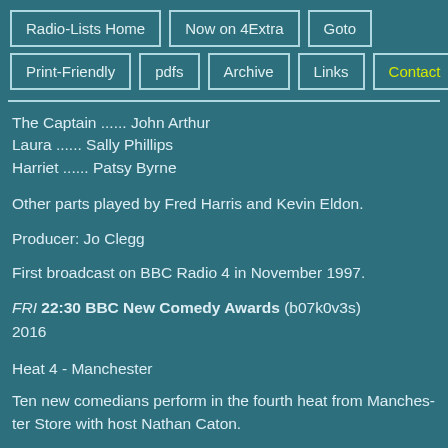Radio-Lists Home | Now on 4Extra | Goto | Print-Friendly | pdfs | Archive | Links | Contact
The Captain ...... John Arthur
Laura ...... Sally Phillips
Harriet ...... Patsy Byrne
Other parts played by Fred Harris and Kevin Eldon.
Producer: Jo Clegg
First broadcast on BBC Radio 4 in November 1997.
FRI 22:30 BBC New Comedy Awards (b07k0v3s)
2016
Heat 4 - Manchester
Ten new comedians perform in the fourth heat from Manchester Store with host Nathan Caton.